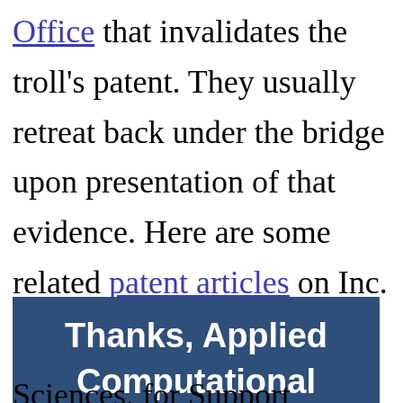Office that invalidates the troll's patent. They usually retreat back under the bridge upon presentation of that evidence. Here are some related patent articles on Inc.
Thanks, Applied Computational
Sciences, for Support